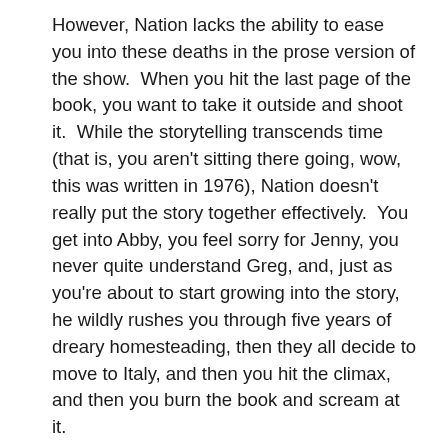However, Nation lacks the ability to ease you into these deaths in the prose version of the show.  When you hit the last page of the book, you want to take it outside and shoot it.  While the storytelling transcends time (that is, you aren't sitting there going, wow, this was written in 1976), Nation doesn't really put the story together effectively.  You get into Abby, you feel sorry for Jenny, you never quite understand Greg, and, just as you're about to start growing into the story, he wildly rushes you through five years of dreary homesteading, then they all decide to move to Italy, and then you hit the climax, and then you burn the book and scream at it.
There's a long out of print sequel by John Eyers which, supposedly, dwells on the darker aspects following the conclusion of Nation's novel, and is a bit more human.
In the end, Survivors is a fast and enjoyable read if you're familiar with the original series.  But season one of the show does a better job with the story than Nation's